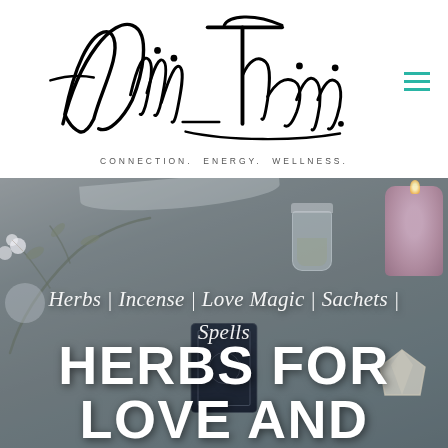[Figure (logo): Allie Theiss signature logo in black cursive script with tagline 'CONNECTION. ENERGY. WELLNESS.' below, and teal hamburger menu icon in top right]
[Figure (photo): Hero banner photo showing mystical/witchcraft items on a white surface: dried flowers/botanicals on the left, a glass jar with herbs in the center, a purple candle on the right, tarot cards and crystal at the bottom. Image has a grey-tinted overlay.]
Herbs | Incense | Love Magic | Sachets | Spells
HERBS FOR LOVE AND